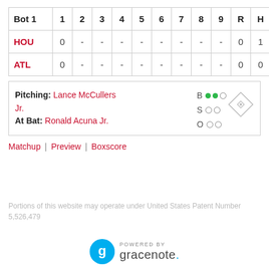| Bot 1 | 1 | 2 | 3 | 4 | 5 | 6 | 7 | 8 | 9 | R | H | E |
| --- | --- | --- | --- | --- | --- | --- | --- | --- | --- | --- | --- | --- |
| HOU | 0 | - | - | - | - | - | - | - | - | 0 | 1 | 0 |
| ATL | 0 | - | - | - | - | - | - | - | - | 0 | 0 | 0 |
Pitching: Lance McCullers Jr. | At Bat: Ronald Acuna Jr. | B●●○ S○○ O○○
Matchup | Preview | Boxscore
Portions of this website may operate under United States Patent Number 5,526,479
[Figure (logo): Powered by Gracenote logo]